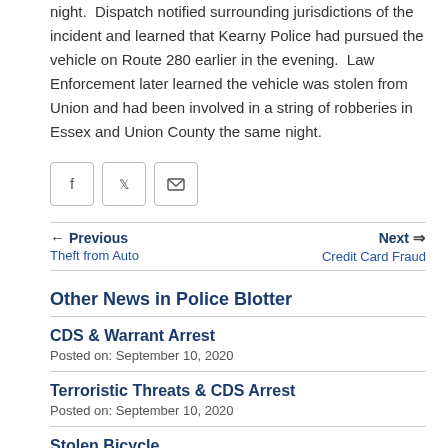night.  Dispatch notified surrounding jurisdictions of the incident and learned that Kearny Police had pursued the vehicle on Route 280 earlier in the evening.  Law Enforcement later learned the vehicle was stolen from Union and had been involved in a string of robberies in Essex and Union County the same night.
[Figure (other): Social share buttons: Facebook, Twitter, Email]
← Previous  Theft from Auto    Next ⇒  Credit Card Fraud
Other News in Police Blotter
CDS & Warrant Arrest
Posted on: September 10, 2020
Terroristic Threats & CDS Arrest
Posted on: September 10, 2020
Stolen Bicycle
Posted on: September 8, 2020